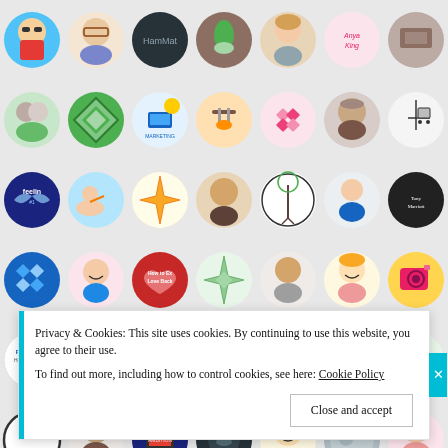[Figure (screenshot): Grid of circular user avatar profile pictures from a social/blogging platform, arranged in 6 rows × 7 columns. Avatars include photos of people, logos, illustrations, and brand icons.]
Privacy & Cookies: This site uses cookies. By continuing to use this website, you agree to their use.
To find out more, including how to control cookies, see here: Cookie Policy